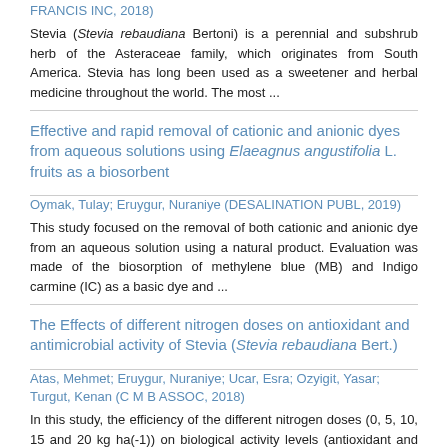FRANCIS INC, 2018)
Stevia (Stevia rebaudiana Bertoni) is a perennial and subshrub herb of the Asteraceae family, which originates from South America. Stevia has long been used as a sweetener and herbal medicine throughout the world. The most ...
Effective and rapid removal of cationic and anionic dyes from aqueous solutions using Elaeagnus angustifolia L. fruits as a biosorbent
Oymak, Tulay; Eruygur, Nuraniye (DESALINATION PUBL, 2019)
This study focused on the removal of both cationic and anionic dye from an aqueous solution using a natural product. Evaluation was made of the biosorption of methylene blue (MB) and Indigo carmine (IC) as a basic dye and ...
The Effects of different nitrogen doses on antioxidant and antimicrobial activity of Stevia (Stevia rebaudiana Bert.)
Atas, Mehmet; Eruygur, Nuraniye; Ucar, Esra; Ozyigit, Yasar; Turgut, Kenan (C M B ASSOC, 2018)
In this study, the efficiency of the different nitrogen doses (0, 5, 10, 15 and 20 kg ha(-1)) on biological activity levels (antioxidant and antimicrobial activity) of Stevia rebaudiana Bert. was investigated. In addition, ...